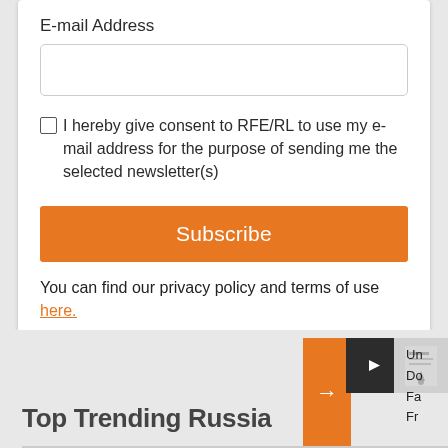E-mail Address
I hereby give consent to RFE/RL to use my e-mail address for the purpose of sending me the selected newsletter(s)
Subscribe
You can find our privacy policy and terms of use here.
Top Trending Russia